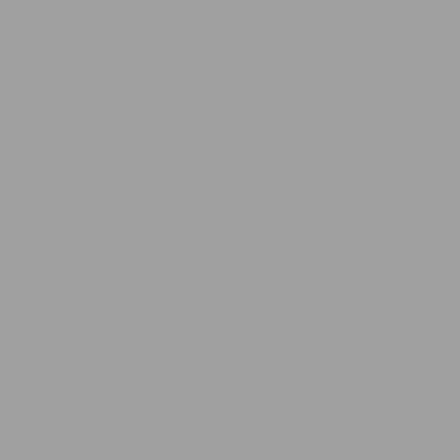w... di...
Creator of Satin Skin�, liquid moisturizer hand ingredients. Featured in...
SELEUS is a Korea pursuits naturalism, h... SELEUS aims for beau...